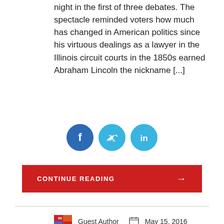night in the first of three debates. The spectacle reminded voters how much has changed in American politics since his virtuous dealings as a lawyer in the Illinois circuit courts in the 1850s earned Abraham Lincoln the nickname [...]
[Figure (other): Three social media share buttons: Facebook (dark blue circle with f), Twitter (light blue circle with bird icon), LinkedIn (light blue circle with 'in')]
CONTINUE READING →
[Figure (other): Author icon (small colorful flag/logo), Guest Author label, calendar icon, May 15, 2016]
[Figure (photo): Close-up photo of dark keyboard keys with a finger pressing one of the keys, showing a checkmark/arrow symbol on the key]